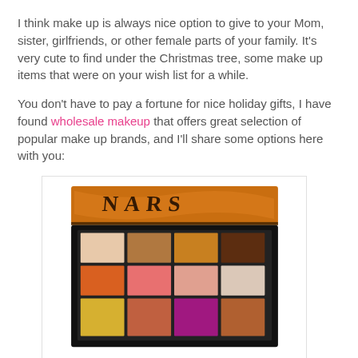I think make up is always nice option to give to your Mom, sister, girlfriends, or other female parts of your family. It's very cute to find under the Christmas tree, some make up items that were on your wish list for a while.
You don't have to pay a fortune for nice holiday gifts, I have found wholesale makeup that offers great selection of popular make up brands, and I'll share some options here with you:
[Figure (photo): A NARS eyeshadow makeup palette with orange lid showing 12 colored eyeshadow pans in warm tones including oranges, pinks, purples, golds and neutrals arranged in 3 rows of 4.]